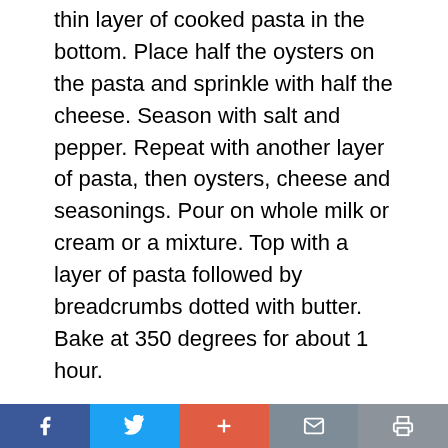thin layer of cooked pasta in the bottom. Place half the oysters on the pasta and sprinkle with half the cheese. Season with salt and pepper. Repeat with another layer of pasta, then oysters, cheese and seasonings. Pour on whole milk or cream or a mixture. Top with a layer of pasta followed by breadcrumbs dotted with butter. Bake at 350 degrees for about 1 hour.
Oyster Perloo
Serves 4
1 quart oysters, fresh or canned
Facebook | Twitter | + | Mail | Print